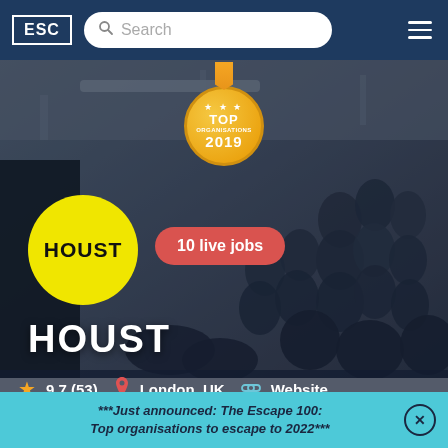ESC | Search | Menu
[Figure (screenshot): Hero image of a speaker presenting to a large audience in a modern event space, with a gold medal badge reading TOP ORGANISATIONS 2019, the HOUST yellow circle logo, and a red pill button reading '10 live jobs'. Large white HOUST text at bottom left.]
9.7 (53)  London, UK  Website
***Just announced: The Escape 100: Top organisations to escape to 2022***